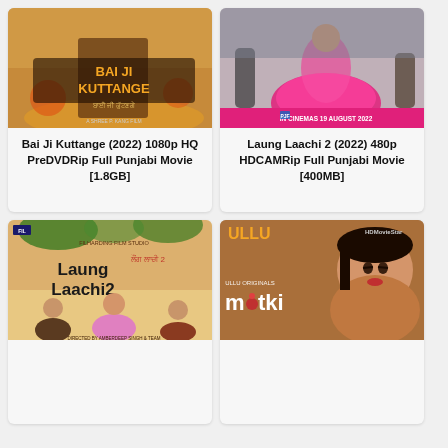[Figure (photo): Movie poster for Bai Ji Kuttange (2022) Punjabi film]
Bai Ji Kuttange (2022) 1080p HQ PreDVDRip Full Punjabi Movie [1.8GB]
[Figure (photo): Movie poster for Laung Laachi 2 (2022) Punjabi film, in cinemas 19 August 2022]
Laung Laachi 2 (2022) 480p HDCAMRip Full Punjabi Movie [400MB]
[Figure (photo): Movie poster for Laung Laachi 2 featuring lead actors]
[Figure (photo): Poster for Matki - Ullu Originals web series, HDMovieArea]